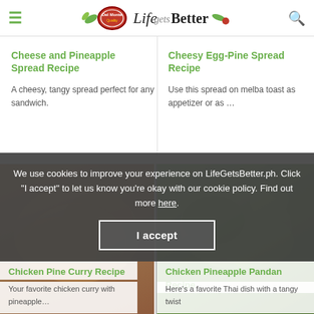Del Monte Life Gets Better
Cheese and Pineapple Spread Recipe
A cheesy, tangy spread perfect for any sandwich.
Cheesy Egg-Pine Spread Recipe
Use this spread on melba toast as appetizer or as …
[Figure (photo): Food photo of Chicken Pine Curry Recipe]
Chicken Pine Curry Recipe
Your favorite chicken curry with pineapple…
[Figure (photo): Food photo of Chicken Pineapple Pandan Recipe]
Chicken Pineapple Pandan Recipe
Here's a favorite Thai dish with a tangy twist
We use cookies to improve your experience on LifeGetsBetter.ph. Click "I accept" to let us know you're okay with our cookie policy. Find out more here.